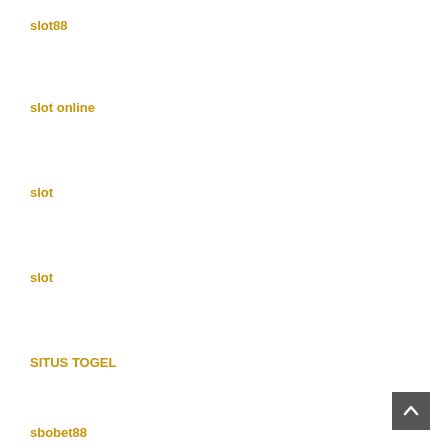slot88
slot online
slot
slot
SITUS TOGEL
sbobet88